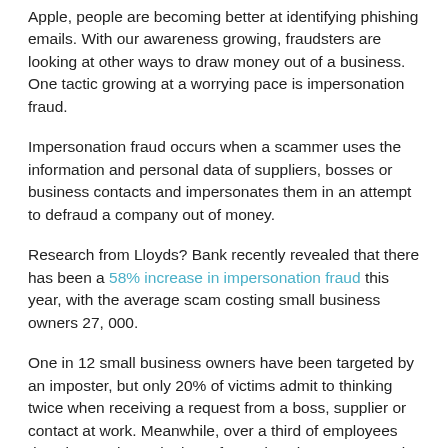Apple, people are becoming better at identifying phishing emails. With our awareness growing, fraudsters are looking at other ways to draw money out of a business. One tactic growing at a worrying pace is impersonation fraud.
Impersonation fraud occurs when a scammer uses the information and personal data of suppliers, bosses or business contacts and impersonates them in an attempt to defraud a company out of money.
Research from Lloyds? Bank recently revealed that there has been a 58% increase in impersonation fraud this year, with the average scam costing small business owners 27, 000.
One in 12 small business owners have been targeted by an imposter, but only 20% of victims admit to thinking twice when receiving a request from a boss, supplier or contact at work. Meanwhile, over a third of employees don't know what to look out for or don't have any security precautions in place, leaving them vulnerable.
The financial impact of impersonation fraud has even